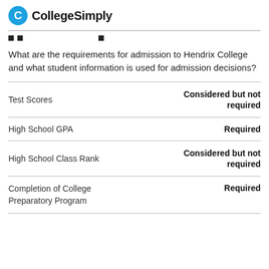CollegeSimply
What are the requirements for admission to Hendrix College and what student information is used for admission decisions?
|  |  |
| --- | --- |
| Test Scores | Considered but not required |
| High School GPA | Required |
| High School Class Rank | Considered but not required |
| Completion of College Preparatory Program | Required |